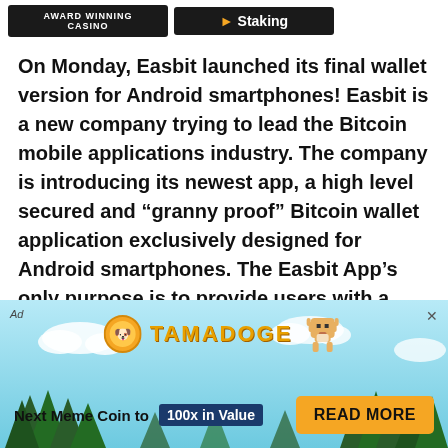[Figure (other): Two dark banner badges at top: 'AWARD WINNING CASINO' on left, and an orange gaming/staking badge on right]
On Monday, Easbit launched its final wallet version for Android smartphones! Easbit is a new company trying to lead the Bitcoin mobile applications industry. The company is introducing its newest app, a high level secured and “granny proof” Bitcoin wallet application exclusively designed for Android smartphones. The Easbit App’s only purpose is to provide users with a secure, user-friendly crypto-currency transaction platform for Android users while enabling them to send and receive secured
[Figure (other): Tamadoge advertisement banner with light blue sky background, pixel-art dog mascot, coin logo, 'TAMADOGE' brand text, tagline 'Next Meme Coin to 100x in Value' and 'READ MORE' CTA button]